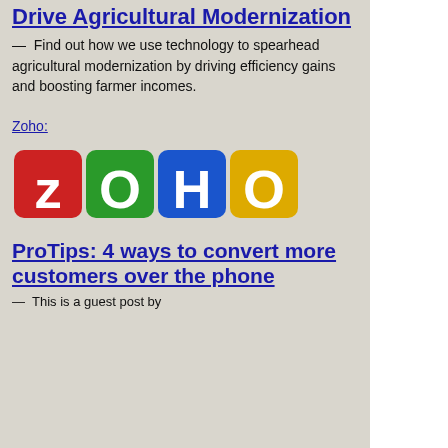Drive Agricultural Modernization
— Find out how we use technology to spearhead agricultural modernization by driving efficiency gains and boosting farmer incomes.
Zoho:
[Figure (logo): Zoho logo with colorful block letters: Z (red), O (green), H (blue), O (yellow)]
ProTips: 4 ways to convert more customers over the phone
— This is a guest post by